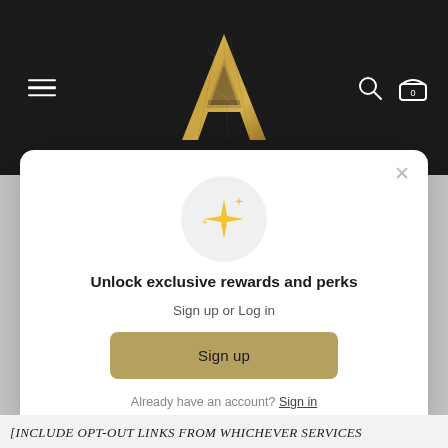[Figure (logo): Dark navigation bar with hamburger menu on left, gold decorative letter A logo in center, search icon and basket icon (showing 0) on right]
[Figure (illustration): White modal dialog with close X button, sparkle/stars emoji icon in gray circle, heading, subtitle, sign up button, and sign in link]
Unlock exclusive rewards and perks
Sign up or Log in
Sign up
Already have an account? Sign in
[INCLUDE OPT-OUT LINKS FROM WHICHEVER SERVICES